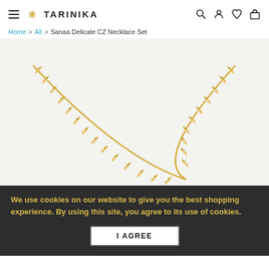≡ 🌿 TARINIKA [search] [account] [wishlist] [cart]
Home > All > Sanaa Delicate CZ Necklace Set
[Figure (photo): Product photo of Sanaa Delicate CZ Necklace Set on light gray background. A gold-tone herringbone-style chain necklace with crystal/CZ stones arranged in a V-shape, shown from above.]
We use cookies on our website to give you the best shopping experience. By using this site, you agree to its use of cookies.
I AGREE